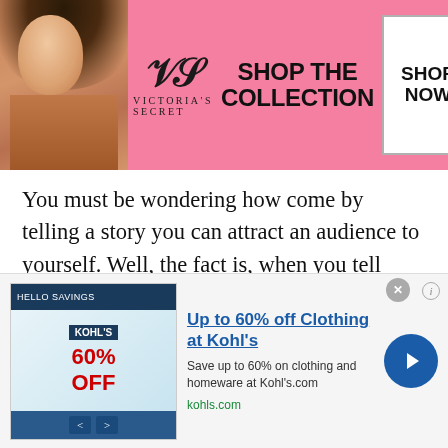[Figure (screenshot): Victoria's Secret banner advertisement with pink background, model on left, VS logo in center, 'SHOP THE COLLECTION' text, and 'SHOP NOW' button on right]
You must be wondering how come by telling a story you can attract an audience to yourself. Well, the fact is, when you tell people about an embarrassing secret about yourself, you somehow invisibly create a bond with them.
People start to think about your embarrassing story and consider you as an emotionally strong person. Because you have been through so many ups and downs in your life. Further it gives people an image
[Figure (screenshot): Kohl's advertisement - 'Up to 60% off Clothing at Kohl's', save up to 60% on clothing and homeware at Kohls.com, kohls.com URL, with product images on left and blue arrow CTA button on right]